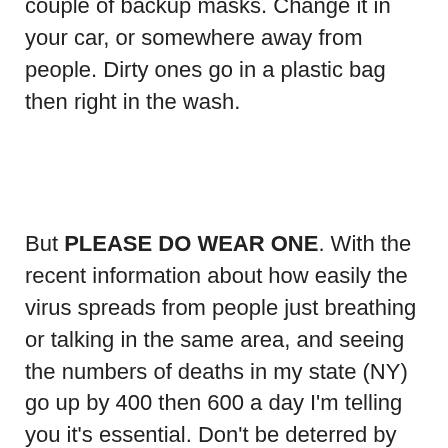couple of backup masks. Change it in your car, or somewhere away from people. Dirty ones go in a plastic bag then right in the wash.
But PLEASE DO WEAR ONE. With the recent information about how easily the virus spreads from people just breathing or talking in the same area, and seeing the numbers of deaths in my state (NY) go up by 400 then 600 a day I'm telling you it's essential. Don't be deterred by things like "I'll look silly" or "I'll look like I'm scared." If you absolutely have to go out today, be the person who goes out wearing one today, and be an example for others. People need to see people out wearing them. People do what other people are doing. Being the first one to do it is a potentially life-saving act.